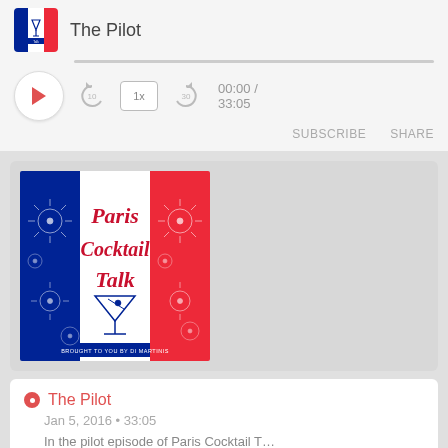[Figure (screenshot): Podcast app screenshot showing Paris Cocktail Talk podcast player with The Pilot episode]
The Pilot
00:00 / 33:05
SUBSCRIBE   SHARE
[Figure (illustration): Paris Cocktail Talk podcast artwork - French flag styled cover with martini glass and cursive text]
The Pilot
Jan 5, 2016 • 33:05
In the pilot episode of Paris Cocktail T…
[Figure (illustration): Bottom preview of another Paris Cocktail Talk podcast episode with partial artwork visible]